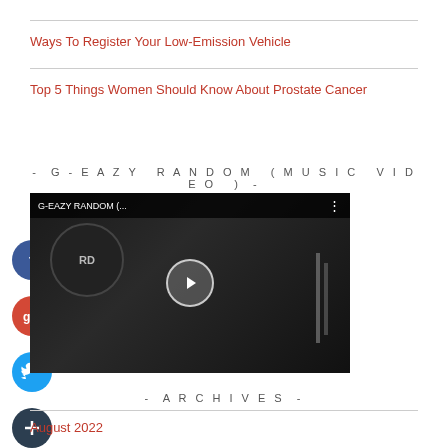Ways To Register Your Low-Emission Vehicle
Top 5 Things Women Should Know About Prostate Cancer
- G-EAZY RANDOM (MUSIC VIDEO ) -
[Figure (screenshot): YouTube video thumbnail for G-EAZY RANDOM music video, black and white, with play button overlay and video title bar]
[Figure (other): Social media share buttons on the left side: Facebook (blue), Google+ (red), Twitter (blue), and a plus/add button (dark blue)]
- ARCHIVES -
August 2022